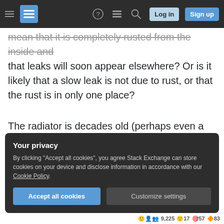Stack Exchange navigation bar with hamburger menu, logo, help, comments, search icons, Log in and Sign up buttons
mean that it is completely rusted from the inside and that leaks will soon appear elsewhere? Or is it likely that a slow leak is not due to rust, or that the rust is in only one place?
The radiator is decades old (perhaps even a century), but has been moved recently in order to repair the floor. The leak is clearly away from the valve.
radiator
Your privacy
By clicking "Accept all cookies", you agree Stack Exchange can store cookies on your device and disclose information in accordance with our Cookie Policy.
Accept all cookies   Customize settings
9,225 · 17 · 57 · 83